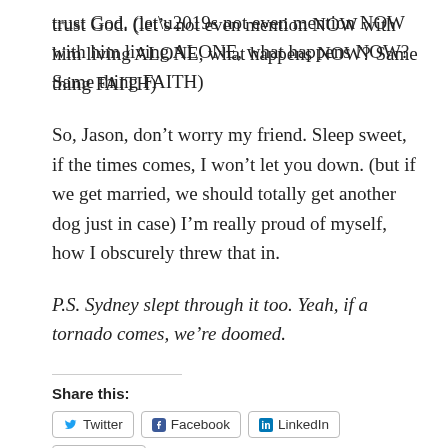trust God. (let’s not even mention NOW with him living ALONE, what happens NOW? Same thing FAITH)
So, Jason, don’t worry my friend. Sleep sweet, if the times comes, I won’t let you down. (but if we get married, we should totally get another dog just in case) I’m really proud of myself, how I obscurely threw that in.
P.S. Sydney slept through it too. Yeah, if a tornado comes, we’re doomed.
Share this:
Twitter | Facebook | LinkedIn | Pinterest | Tumblr